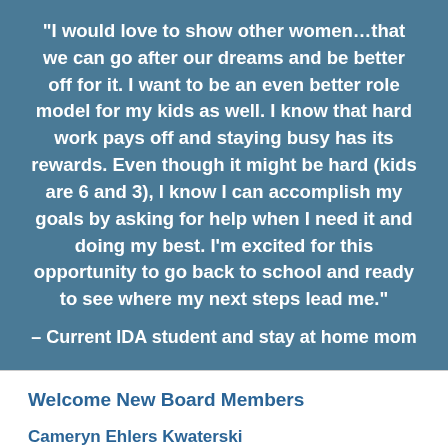“I would love to show other women…that we can go after our dreams and be better off for it. I want to be an even better role model for my kids as well. I know that hard work pays off and staying busy has its rewards. Even though it might be hard (kids are 6 and 3), I know I can accomplish my goals by asking for help when I need it and doing my best. I’m excited for this opportunity to go back to school and ready to see where my next steps lead me.”
– Current IDA student and stay at home mom
Welcome New Board Members
Cameryn Ehlers Kwaterski
[Figure (photo): Partial photo of a person, cropped at bottom of page, showing red and dark colors]